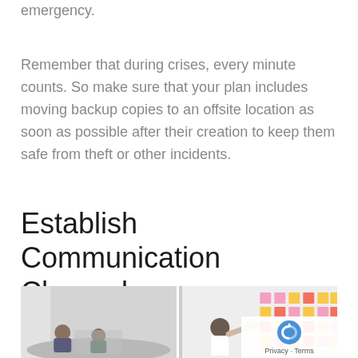emergency.
Remember that during crises, every minute counts. So make sure that your plan includes moving backup copies to an offsite location as soon as possible after their creation to keep them safe from theft or other incidents.
Establish Communication Channels
[Figure (photo): Two photos side by side: left shows people seated in an office meeting, right shows a person pointing at colorful sticky notes arranged on a wall.]